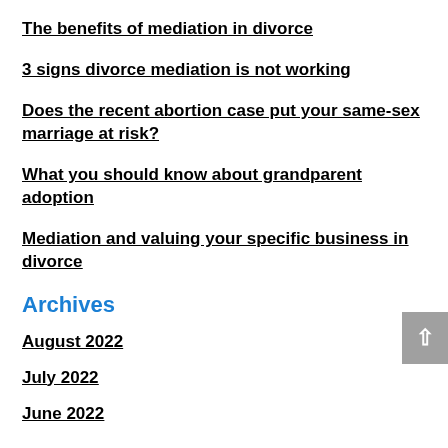The benefits of mediation in divorce
3 signs divorce mediation is not working
Does the recent abortion case put your same-sex marriage at risk?
What you should know about grandparent adoption
Mediation and valuing your specific business in divorce
Archives
August 2022
July 2022
June 2022